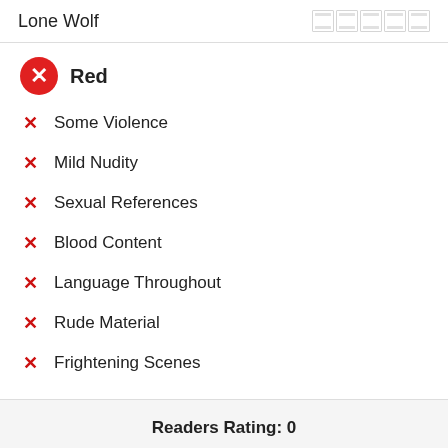Lone Wolf
Red
Some Violence
Mild Nudity
Sexual References
Blood Content
Language Throughout
Rude Material
Frightening Scenes
Readers Rating: 0
0 votes